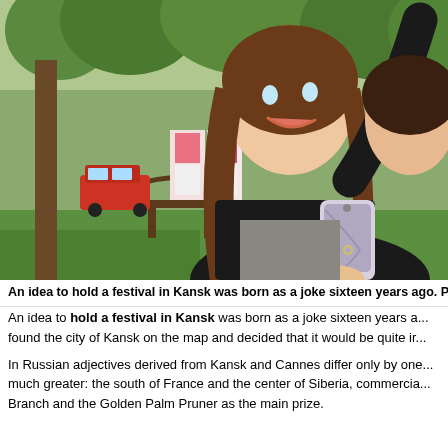[Figure (photo): Two young women taking a selfie outdoors in a park-like setting. One woman with long brown hair and a black jacket raises her arm holding a phone with a decorative case, smiling and looking up. Another woman is visible behind her. Background shows trees, a bench, a red car, and display boards.]
An idea to hold a festival in Kansk was born as a joke sixteen years ago. Pictu
An idea to hold a festival in Kansk was born as a joke sixteen years a... found the city of Kansk on the map and decided that it would be quite ir...
In Russian adjectives derived from Kansk and Cannes differ only by one... much greater: the south of France and the center of Siberia, commercia... Branch and the Golden Palm Pruner as the main prize.